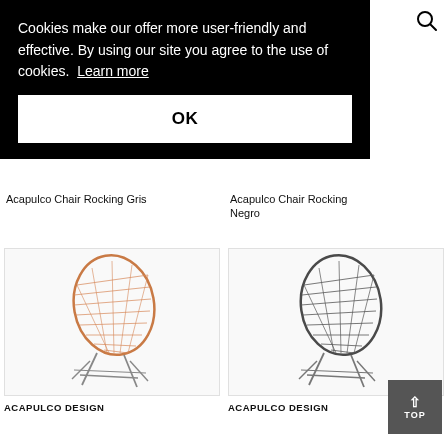Cookies make our offer more user-friendly and effective. By using our site you agree to the use of cookies. Learn more
OK
Acapulco Chair Rocking Gris
Acapulco Chair Rocking Negro
[Figure (photo): Orange/salmon colored Acapulco style woven chair with metal legs]
ACAPULCO DESIGN
[Figure (photo): Dark gray/charcoal colored Acapulco style woven chair with metal legs]
ACAPULCO DESIGN